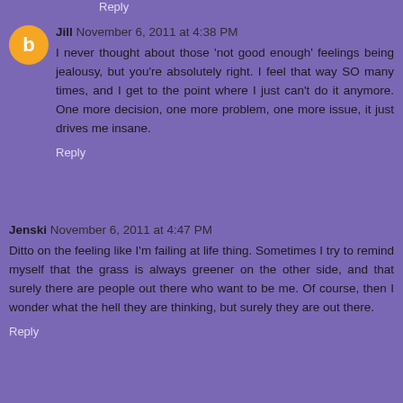Reply
Jill November 6, 2011 at 4:38 PM
I never thought about those 'not good enough' feelings being jealousy, but you're absolutely right. I feel that way SO many times, and I get to the point where I just can't do it anymore. One more decision, one more problem, one more issue, it just drives me insane.
Reply
Jenski November 6, 2011 at 4:47 PM
Ditto on the feeling like I'm failing at life thing. Sometimes I try to remind myself that the grass is always greener on the other side, and that surely there are people out there who want to be me. Of course, then I wonder what the hell they are thinking, but surely they are out there.
Reply